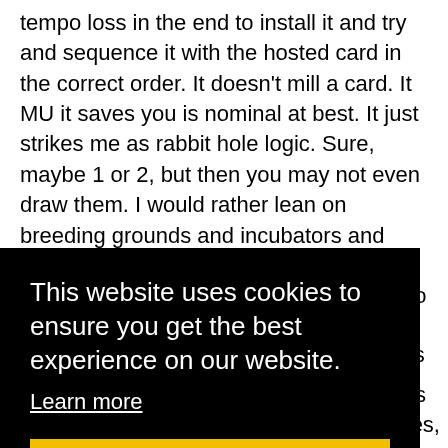tempo loss in the end to install it and try and sequence it with the hosted card in the correct order. It doesn't mill a card. It MU it saves you is nominal at best. It just strikes me as rabbit hole logic. Sure, maybe 1 or 2, but then you may not even draw them. I would rather lean on breeding grounds and incubators and play something that actually impact the game more. It's not like Hive Mind HAS to be a peak performance every single turn, right? You just need it to be up and full of viruses at specific points in the game.
5.) The estimations regarding econ are simply not true. Daily Casts is not net 9. It is net 4. It cost you three to install. The ... At ... ards ... eck ... ys. ... s ... ies, since you are stringing half a dozen cards together for
This website uses cookies to ensure you get the best experience on our website.
Learn more
Got it!